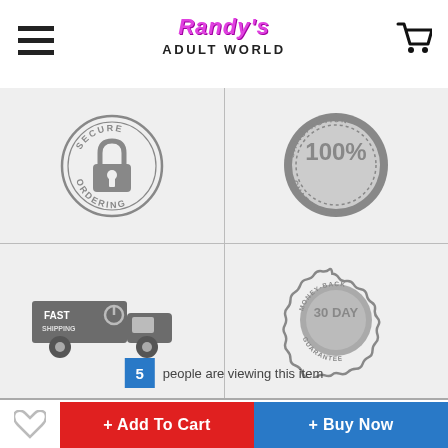Randy's Adult World
[Figure (logo): Randy's Adult World logo with pink italic text and black bold subtitle]
[Figure (illustration): Four trust badge icons in a 2x2 grid on gray background: Secure Ordering (lock in circle), 100% Satisfaction Guaranteed (stamp), Fast Shipping (delivery truck), 30 Day Money-Back Guarantee (seal)]
5 people are viewing this item
+ Add To Cart
+ Buy Now